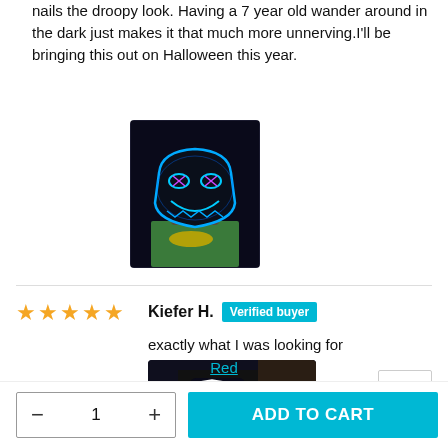nails the droopy look. Having a 7 year old wander around in the dark just makes it that much more unnerving.I'll be bringing this out on Halloween this year.
[Figure (photo): Photo of a person wearing a glowing blue LED Halloween mask against a dark background, wearing a green Nike shirt.]
Kiefer H. Verified buyer
exactly what I was looking for
[Figure (photo): Photo of a person wearing a dark LED Halloween mask with glowing white design elements.]
Red
- 1 +
ADD TO CART